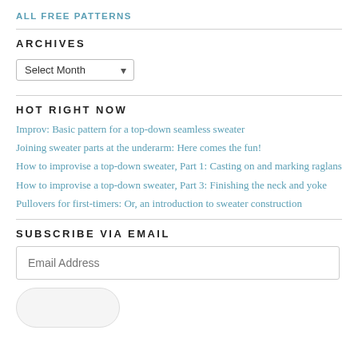ALL FREE PATTERNS
ARCHIVES
Select Month
HOT RIGHT NOW
Improv: Basic pattern for a top-down seamless sweater
Joining sweater parts at the underarm: Here comes the fun!
How to improvise a top-down sweater, Part 1: Casting on and marking raglans
How to improvise a top-down sweater, Part 3: Finishing the neck and yoke
Pullovers for first-timers: Or, an introduction to sweater construction
SUBSCRIBE VIA EMAIL
Email Address